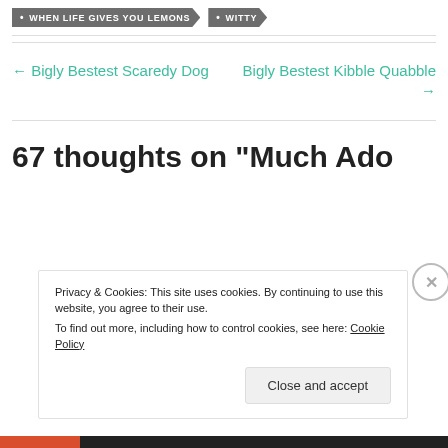• WHEN LIFE GIVES YOU LEMONS
• WITTY
← Bigly Bestest Scaredy Dog
Bigly Bestest Kibble Quabble →
67 thoughts on “Much Ado
Privacy & Cookies: This site uses cookies. By continuing to use this website, you agree to their use.
To find out more, including how to control cookies, see here: Cookie Policy
Close and accept